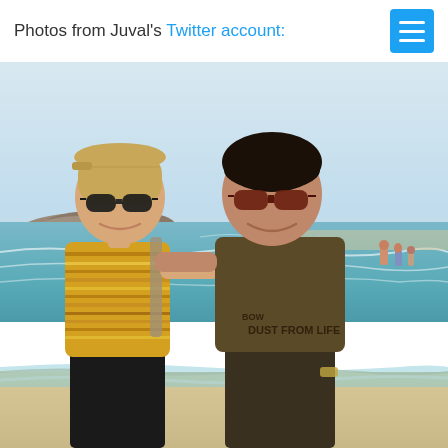Photos from Juval's Twitter account:
[Figure (photo): Two men smiling at the beach. The man on the left wears a yellow striped t-shirt, a beige cap, sunglasses, and a backpack. The man on the right wears a brown t-shirt reading 'DUST FROM LIFE' and sunglasses. They pose together with the ocean, waves, rocks, and other beachgoers visible in the background.]